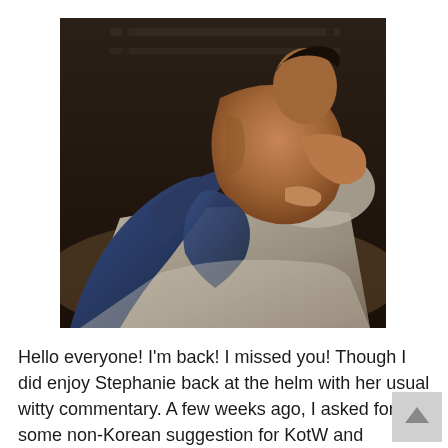[Figure (photo): A shirtless male model reclining on a bed, wearing blue jeans, photographed in a dimly lit room.]
Hello everyone!  I'm back!  I missed you!  Though I did enjoy Stephanie back at the helm with her usual witty commentary.  A few weeks ago, I asked for some non-Korean suggestion for KotW and DBChen stepped up and gave me several names.  Thank you, DBChen!  I especially love you